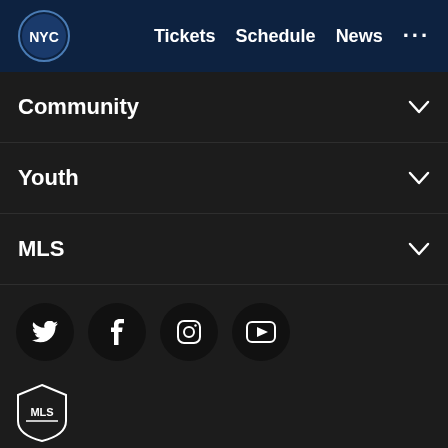NYCFC logo | Tickets  Schedule  News  ...
Community
Youth
MLS
[Figure (other): Social media icon buttons: Twitter, Facebook, Instagram, YouTube]
[Figure (logo): MLS shield logo]
Terms of Service   Privacy Policy   Do Not Sell My Personal Information
©2022 MLS. The Major League Soccer and MLS name and shield are registered trademarks of Major League Soccer, L.L.C. ("MLS"). The names and logos of MLS teams are registered and/or common law trademarks of MLS or are used with the permission of their owners. Any unauthorized use is forbidden.